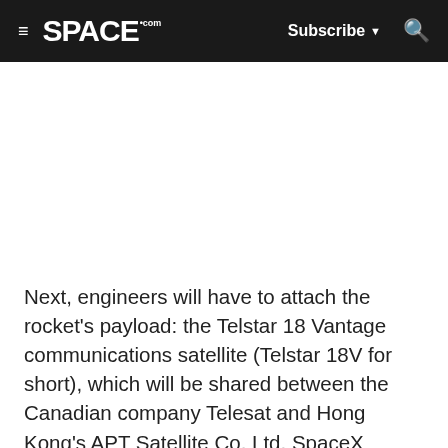≡  SPACE.com   Subscribe ▼  🔍
Next, engineers will have to attach the rocket's payload: the Telstar 18 Vantage communications satellite (Telstar 18V for short), which will be shared between the Canadian company Telesat and Hong Kong's APT Satellite Co. Ltd. SpaceX successfully launched the Telstar 19V, the second satellite in this series, in July; Telstar 18V will be the third in the